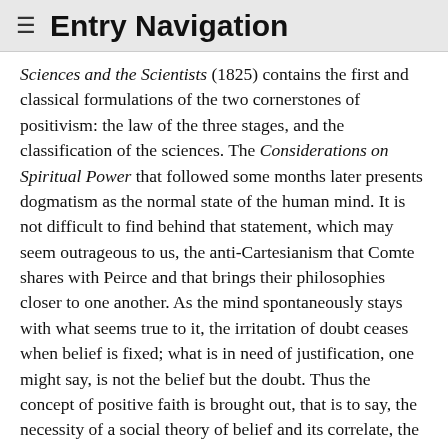≡ Entry Navigation
Sciences and the Scientists (1825) contains the first and classical formulations of the two cornerstones of positivism: the law of the three stages, and the classification of the sciences. The Considerations on Spiritual Power that followed some months later presents dogmatism as the normal state of the human mind. It is not difficult to find behind that statement, which may seem outrageous to us, the anti-Cartesianism that Comte shares with Peirce and that brings their philosophies closer to one another. As the mind spontaneously stays with what seems true to it, the irritation of doubt ceases when belief is fixed; what is in need of justification, one might say, is not the belief but the doubt. Thus the concept of positive faith is brought out, that is to say, the necessity of a social theory of belief and its correlate, the logical theory of authority.
In the year 1826 two major events take place. First, Comte's program was reshaped. The first System of 1822 was unfinished, and writing the remaining part was one of Comte's priorities. But in 1826 he postponed that project...